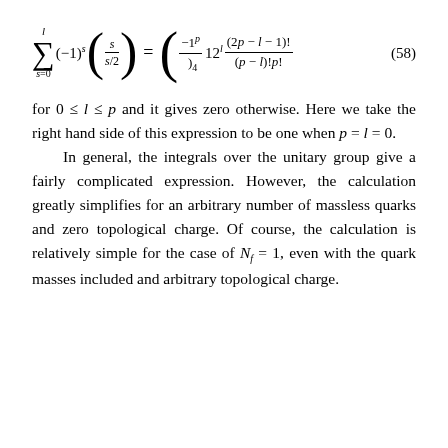for 0 ≤ l ≤ p and it gives zero otherwise. Here we take the right hand side of this expression to be one when p = l = 0. In general, the integrals over the unitary group give a fairly complicated expression. However, the calculation greatly simplifies for an arbitrary number of massless quarks and zero topological charge. Of course, the calculation is relatively simple for the case of N_f = 1, even with the quark masses included and arbitrary topological charge.